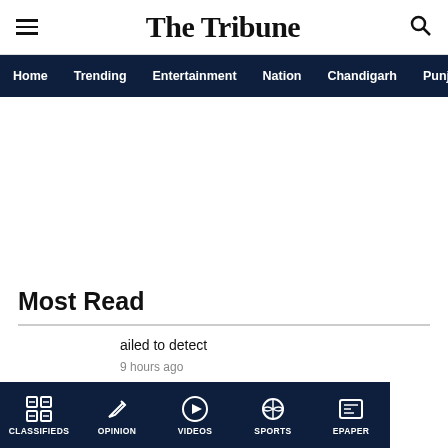The Tribune
Home  Trending  Entertainment  Nation  Chandigarh  Punjab
Most Read
ailed to detect
9 hours ago
CLASSIFIEDS  OPINION  VIDEOS  SPORTS  EPAPER